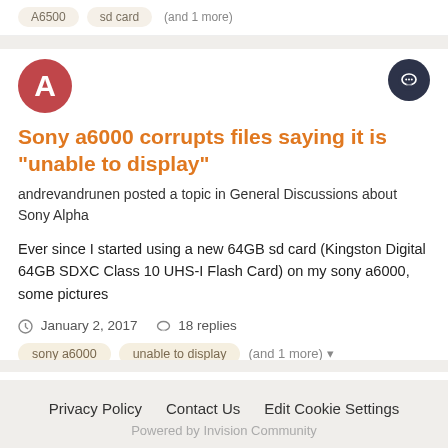A6500   sd card   (and 1 more)
Sony a6000 corrupts files saying it is "unable to display"
andrevandrunen posted a topic in General Discussions about Sony Alpha
Ever since I started using a new 64GB sd card (Kingston Digital 64GB SDXC Class 10 UHS-I Flash Card) on my sony a6000, some pictures
January 2, 2017   18 replies
sony a6000
unable to display
(and 1 more)
Privacy Policy   Contact Us   Edit Cookie Settings
Powered by Invision Community